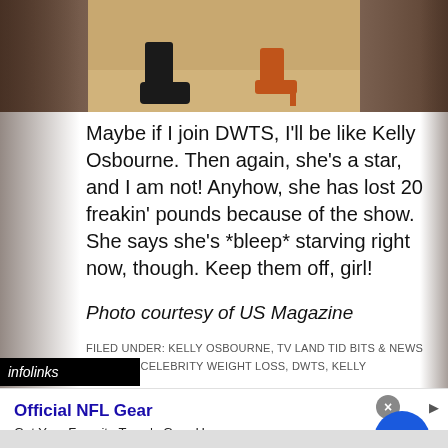[Figure (photo): Cropped photo showing dance partners' feet and legs on a dance floor, one in black dress shoes and one in orange/brown heeled shoes]
Maybe if I join DWTS, I'll be like Kelly Osbourne. Then again, she's a star, and I am not! Anyhow, she has lost 20 freakin' pounds because of the show. She says she's *bleep* starving right now, though. Keep them off, girl!
Photo courtesy of US Magazine
FILED UNDER: KELLY OSBOURNE, TV LAND TID BITS & NEWS
ED WITH: CELEBRITY WEIGHT LOSS, DWTS, KELLY
[Figure (infographic): Infolinks advertisement banner with NFL Gear ad: 'Official NFL Gear - Get Your Favorite Team's Gear Here - www.nflshop.com' with blue arrow button and close X button]